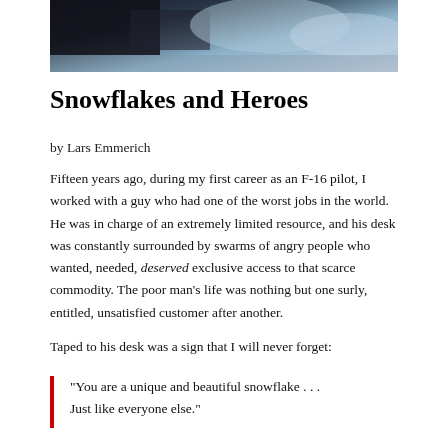[Figure (photo): A dark and light blue/grey abstract background image, appears to be a close-up of ice or sky.]
Snowflakes and Heroes
by Lars Emmerich
Fifteen years ago, during my first career as an F-16 pilot, I worked with a guy who had one of the worst jobs in the world. He was in charge of an extremely limited resource, and his desk was constantly surrounded by swarms of angry people who wanted, needed, deserved exclusive access to that scarce commodity. The poor man’s life was nothing but one surly, entitled, unsatisfied customer after another.

Taped to his desk was a sign that I will never forget:
“You are a unique and beautiful snowflake . . . Just like everyone else.”